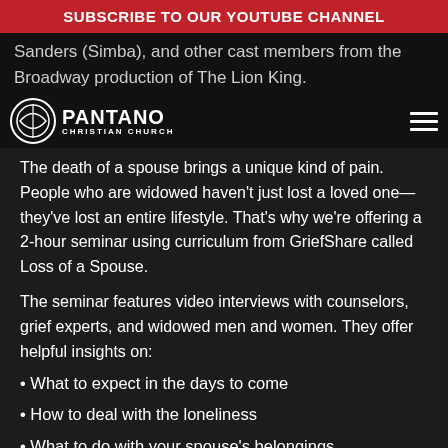SUBSCRIBE TO OUR YOUTUBE CHANNEL
Sanders (Simba), and other cast members from the Broadway production of The Lion King.
[Figure (logo): Pantano Christian Church logo with circular emblem and text]
The death of a spouse brings a unique kind of pain. People who are widowed haven't just lost a loved one—they've lost an entire lifestyle. That's why we're offering a 2-hour seminar using curriculum from GriefShare called Loss of a Spouse.
The seminar features video interviews with counselors, grief experts, and widowed men and women. They offer helpful insights on:
• What to expect in the days to come
• How to deal with the loneliness
• What to do with your spouse's belongings
• Why it won't always hurt this much